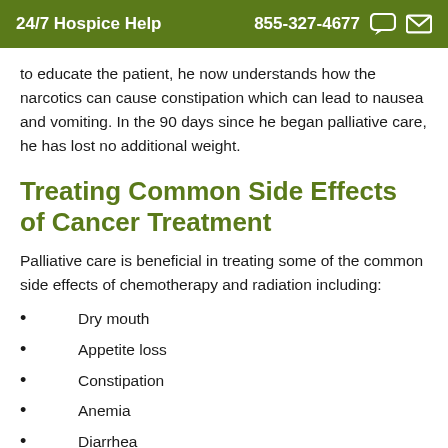24/7 Hospice Help   855-327-4677
to educate the patient, he now understands how the narcotics can cause constipation which can lead to nausea and vomiting. In the 90 days since he began palliative care, he has lost no additional weight.
Treating Common Side Effects of Cancer Treatment
Palliative care is beneficial in treating some of the common side effects of chemotherapy and radiation including:
Dry mouth
Appetite loss
Constipation
Anemia
Diarrhea
Skin Burns